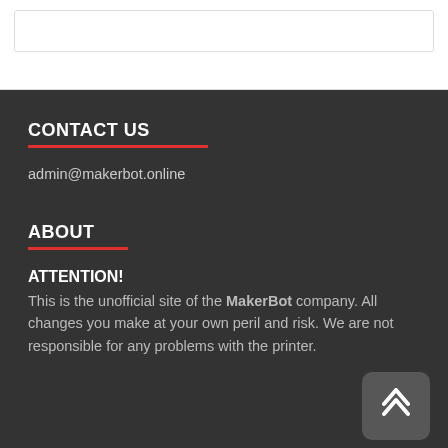CONTACT US
admin@makerbot.online
ABOUT
ATTENTION!
This is the unofficial site of the MakerBot company. All changes you make at your own peril and risk. We are not responsible for any problems with the printer.